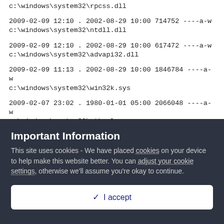c:\windows\system32\rpcss.dll
2009-02-09 12:10 . 2002-08-29 10:00 714752 ----a-w c:\windows\system32\ntdll.dll
2009-02-09 12:10 . 2002-08-29 10:00 617472 ----a-w c:\windows\system32\advapi32.dll
2009-02-09 11:13 . 2002-08-29 10:00 1846784 ----a-w c:\windows\system32\win32k.sys
2009-02-07 23:02 . 1980-01-01 05:00 2066048 ----a-w c:\windows\system32\ntkrnlpa.exe
2009-02-06 11:11 . 2002-08-29 10:00 110592 ----a-w
Important Information
This site uses cookies - We have placed cookies on your device to help make this website better. You can adjust your cookie settings, otherwise we'll assume you're okay to continue.
✓  I accept